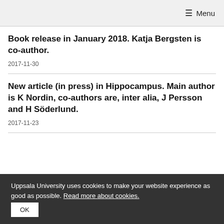≡ Menu
Book release in January 2018. Katja Bergsten is co-author.
2017-11-30
New article (in press) in Hippocampus. Main author is K Nordin, co-authors are, inter alia, J Persson and H Söderlund.
2017-11-23
Uppsala University uses cookies to make your website experience as good as possible. Read more about cookies.